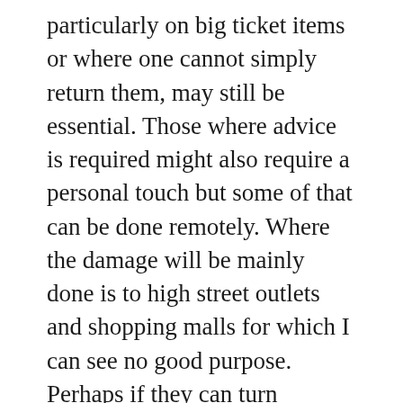particularly on big ticket items or where one cannot simply return them, may still be essential. Those where advice is required might also require a personal touch but some of that can be done remotely. Where the damage will be mainly done is to high street outlets and shopping malls for which I can see no good purpose. Perhaps if they can turn themselves into entertainment and drinking/eating venues they can survive but it's clearly going to be a lot tougher for such venues and the smaller retail chains that rely on them. Department stores will likely suffer as they already have so investing in companies such as Debenhams is surely questionable unless they become much more internet focused with the